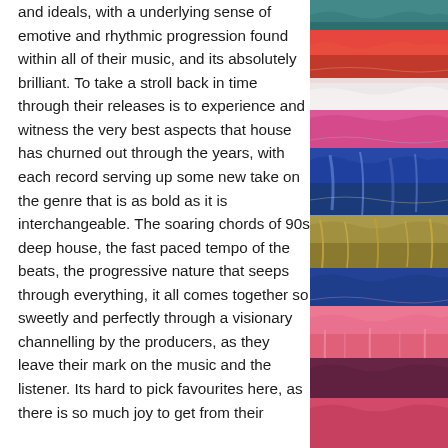and ideals, with a underlying sense of emotive and rhythmic progression found within all of their music, and its absolutely brilliant. To take a stroll back in time through their releases is to experience and witness the very best aspects that house has churned out through the years, with each record serving up some new take on the genre that is as bold as it is interchangeable. The soaring chords of 90s deep house, the fast paced tempo of the beats, the progressive nature that seeps through everything, it all comes together so sweetly and perfectly through a visionary channelling by the producers, as they leave their mark on the music and the listener. Its hard to pick favourites here, as there is so much joy to get from their
[Figure (illustration): Colorful abstract painting with layered horizontal bands of vivid colors including red, blue, pink, green/golden tones, white, arranged in a stacked composition resembling a painted textile or landscape abstraction.]